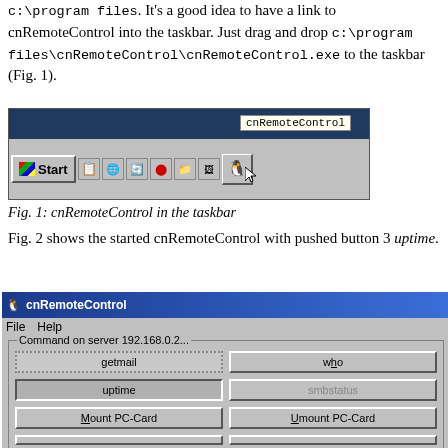c:\program files. It's a good idea to have a link to cnRemoteControl into the taskbar. Just drag and drop c:\program files\cnRemoteControl\cnRemoteControl.exe to the taskbar (Fig. 1).
[Figure (screenshot): Windows taskbar showing the cnRemoteControl icon with a tooltip popup reading 'cnRemoteControl'. The taskbar shows Start button and several icons.]
Fig. 1: cnRemoteControl in the taskbar
Fig. 2 shows the started cnRemoteControl with pushed button 3 uptime.
[Figure (screenshot): cnRemoteControl application window showing buttons: getmail, uptime (pressed), Mount PC-Card, empty, reboot on left; who, smbstatus, Umount PC-Card, empty, shutdown -h now on right. Title bar shows cnRemoteControl with Linux penguin icon. Menu shows File and Help. Group box labeled 'Command on server 192.168.0.2...']